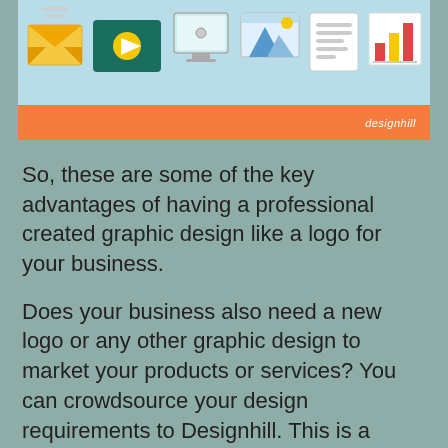[Figure (illustration): A decorative infographic banner showing icons for email, video, computer monitor, image/landscape, document with lines, and bar chart on a light blue background, with an orange bar at the bottom branded 'designhill']
So, these are some of the key advantages of having a professional created graphic design like a logo for your business.
Does your business also need a new logo or any other graphic design to market your products or services? You can crowdsource your design requirements to Designhill. This is a leading marketplace where hundreds of business owners and graphic designers come to create a variety of designs.